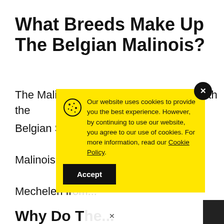What Breeds Make Up The Belgian Malinois?
The Malinois shares a common base with the
Belgian She[pherds]. The
Malinois was
Mechelen fro[m...]
Why Do [T...] Dogs?
Our website uses cookies to provide you the best experience. However, by continuing to use our website, you agree to our use of cookies. For more information, read our Cookie Policy.